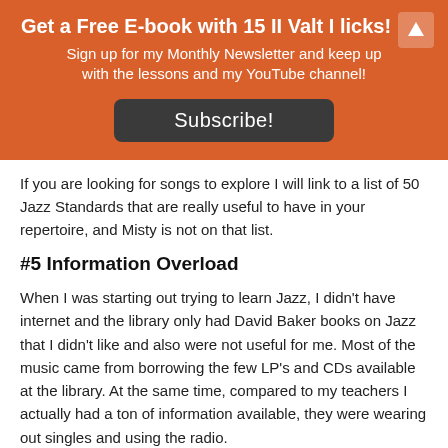Get a Free E-book with 15 II Valt I licks!
Sign up for my Monthly Newsletter and keep up with the lessons and my YouTube channel!
Subscribe!
If you are looking for songs to explore I will link to a list of 50 Jazz Standards that are really useful to have in your repertoire, and Misty is not on that list.
#5 Information Overload
When I was starting out trying to learn Jazz, I didn't have internet and the library only had David Baker books on Jazz that I didn't like and also were not useful for me. Most of the music came from borrowing the few LP's and CDs available at the library. At the same time, compared to my teachers I actually had a ton of information available, they were wearing out singles and using the radio.